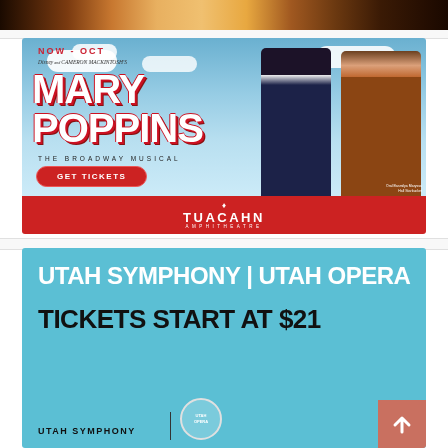[Figure (photo): Top banner photo showing a warm evening street scene or amphitheater exterior with orange/warm lighting]
[Figure (illustration): Advertisement for Mary Poppins The Broadway Musical at Tuacahn Amphitheatre. Shows characters Mary Poppins and Bert against a blue sky with clouds. Text reads NOW - OCT, Disney and Cameron Mackintosh's, Mary Poppins, The Broadway Musical, GET TICKETS, Tuacahn Amphitheatre. Tickets available now through October.]
[Figure (illustration): Advertisement for Utah Symphony | Utah Opera. Teal/light blue background with bold white and black text. UTAH SYMPHONY | UTAH OPERA, TICKETS START AT $21, UTAH SYMPHONY logo and UTAH OPERA logo at bottom. Coral/salmon colored back-to-top arrow button in bottom right corner.]